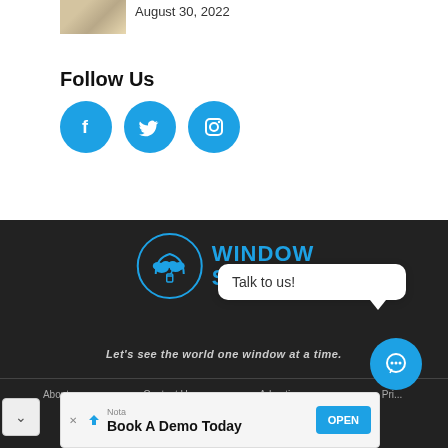[Figure (photo): Small thumbnail image of a sandy/beach scene]
August 30, 2022
Follow Us
[Figure (illustration): Social media icons: Facebook, Twitter, Instagram in blue circles]
[Figure (logo): Window Seat PH logo with airplane window and clouds illustration, blue text on dark background]
Let's see the world one window at a time.
About   Contact Us   Advertise   Pri...
[Figure (screenshot): Talk to us! chat bubble popup]
[Figure (illustration): Blue circular chat button]
[Figure (screenshot): Ad banner: Nota - Book A Demo Today - OPEN button]